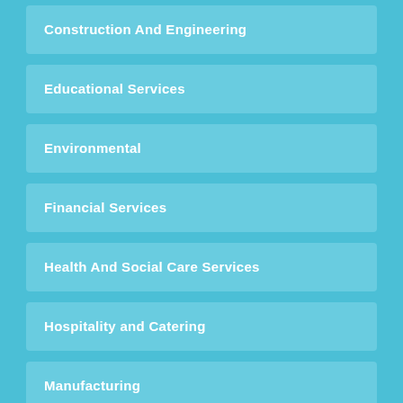Construction And Engineering
Educational Services
Environmental
Financial Services
Health And Social Care Services
Hospitality and Catering
Manufacturing
Not For Profits